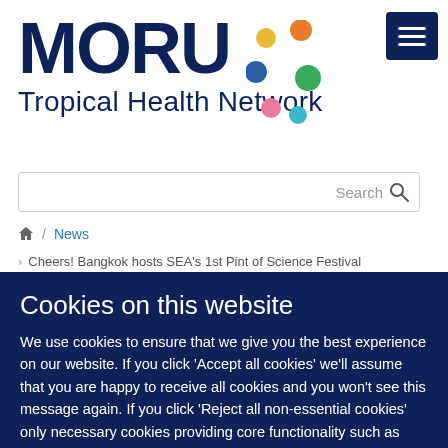[Figure (logo): MORU Tropical Health Network logo with colorful dots]
Search
Home / News
Cheers! Bangkok hosts SEA's 1st Pint of Science Festival
Cookies on this website
We use cookies to ensure that we give you the best experience on our website. If you click 'Accept all cookies' we'll assume that you are happy to receive all cookies and you won't see this message again. If you click 'Reject all non-essential cookies' only necessary cookies providing core functionality such as security, network management, and accessibility will be enabled. Click 'Find out more' for